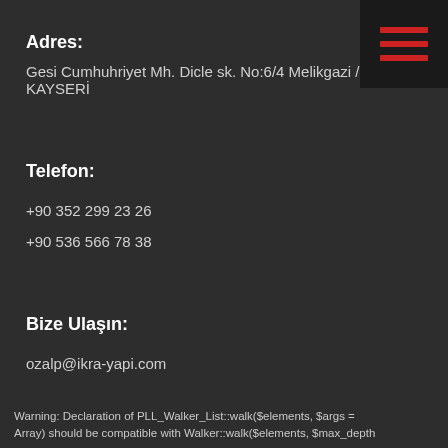Adres:
Gesi Cumhuhriyet Mh. Dicle sk. No:6/4 Melikgazi / KAYSERİ
Telefon:
+90  352 299 23 26
+90 536 566 78 38
Bize Ulaşın:
ozalp@ikra-yapi.com
Warning: Declaration of PLL_Walker_List::walk($elements, $args = Array) should be compatible with Walker::walk($elements, $max_depth